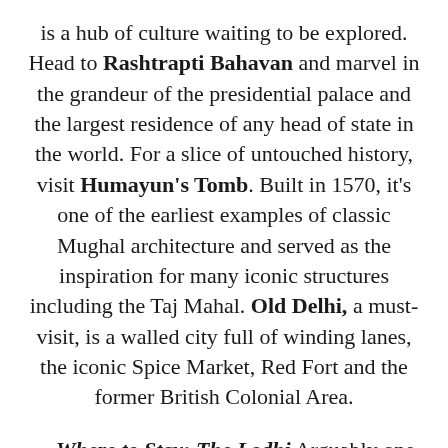is a hub of culture waiting to be explored. Head to Rashtrapti Bahavan and marvel in the grandeur of the presidential palace and the largest residence of any head of state in the world. For a slice of untouched history, visit Humayun's Tomb. Built in 1570, it's one of the earliest examples of classic Mughal architecture and served as the inspiration for many iconic structures including the Taj Mahal. Old Delhi, a must-visit, is a walled city full of winding lanes, the iconic Spice Market, Red Fort and the former British Colonial Area.
Where to Stay: The Lodhi Arguably one of the trendiest hotels in Delhi, The Lodhi features 40 rooms and suites, multiple dining destinations, a